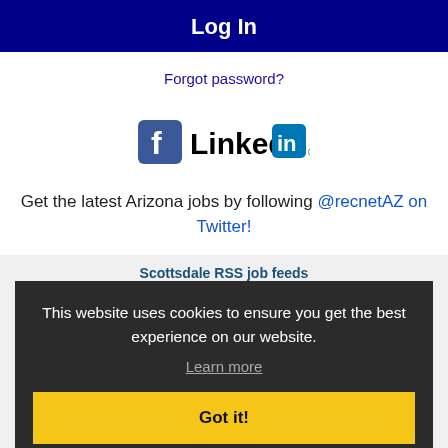Log In
Forgot password?
[Figure (logo): Facebook logo icon and LinkedIn logo side by side]
Get the latest Arizona jobs by following @recnetAZ on Twitter!
Scottsdale RSS job feeds
This website uses cookies to ensure you get the best experience on our website.
Learn more
Got it!
JOB SEEKERS
Search Scottsdale jobs